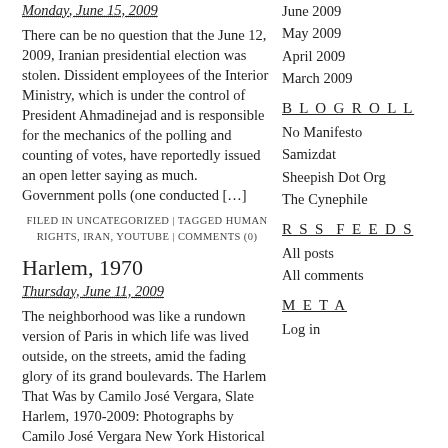Monday, June 15, 2009
There can be no question that the June 12, 2009, Iranian presidential election was stolen. Dissident employees of the Interior Ministry, which is under the control of President Ahmadinejad and is responsible for the mechanics of the polling and counting of votes, have reportedly issued an open letter saying as much. Government polls (one conducted […]
FILED IN UNCATEGORIZED | TAGGED HUMAN RIGHTS, IRAN, YOUTUBE | COMMENTS (0)
Harlem, 1970
Thursday, June 11, 2009
The neighborhood was like a rundown version of Paris in which life was lived outside, on the streets, amid the fading glory of its grand boulevards. The Harlem That Was by Camilo José Vergara, Slate Harlem, 1970-2009: Photographs by Camilo José Vergara New York Historical Society April 30—July 12, 2009
June 2009
May 2009
April 2009
March 2009
BLOGROLL
No Manifesto
Samizdat
Sheepish Dot Org
The Cynephile
RSS FEEDS
All posts
All comments
META
Log in